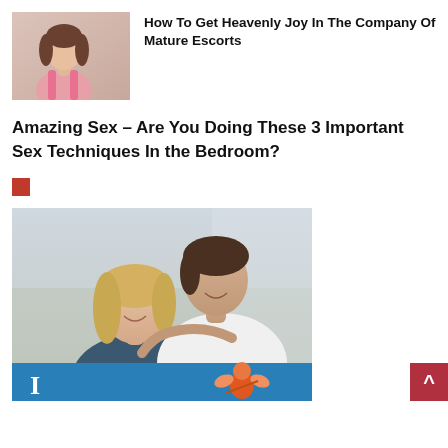[Figure (photo): Thumbnail photo of a young woman in a pink top, sitting indoors]
How To Get Heavenly Joy In The Company Of Mature Escorts
Amazing Sex – Are You Doing These 3 Important Sex Techniques In the Bedroom?
[Figure (other): Small red square bullet/icon]
[Figure (photo): Photo of a smiling couple — blonde woman and dark-haired man embracing outdoors. Bottom has a blue bar with a large white letter and a orange cupid icon.]